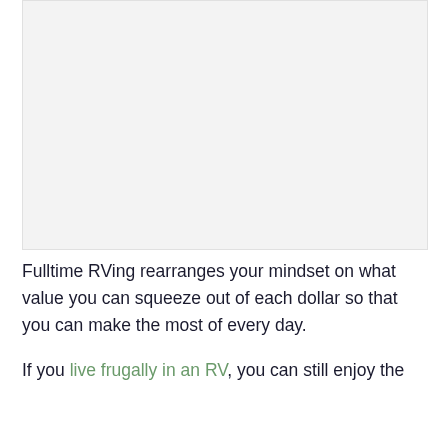[Figure (photo): Large light gray placeholder image area at the top of the page]
Fulltime RVing rearranges your mindset on what value you can squeeze out of each dollar so that you can make the most of every day.
If you live frugally in an RV, you can still enjoy the [continues below]